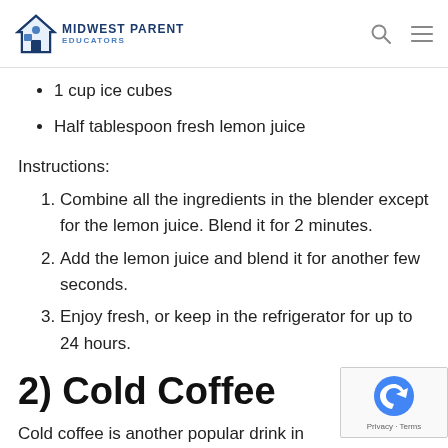Midwest Parent Educators
1 cup ice cubes
Half tablespoon fresh lemon juice
Instructions:
Combine all the ingredients in the blender except for the lemon juice. Blend it for 2 minutes.
Add the lemon juice and blend it for another few seconds.
Enjoy fresh, or keep in the refrigerator for up to 24 hours.
2) Cold Coffee
Cold coffee is another popular drink in